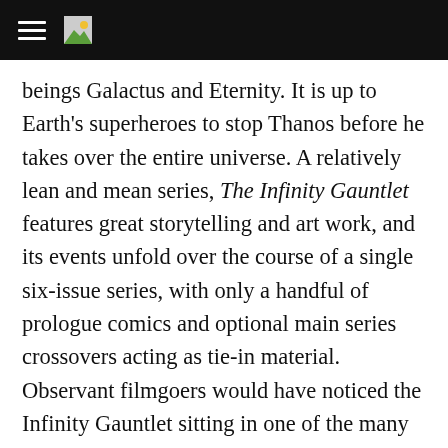[hamburger menu icon] [image icon]
beings Galactus and Eternity. It is up to Earth's superheroes to stop Thanos before he takes over the entire universe. A relatively lean and mean series, The Infinity Gauntlet features great storytelling and art work, and its events unfold over the course of a single six-issue series, with only a handful of prologue comics and optional main series crossovers acting as tie-in material. Observant filmgoers would have noticed the Infinity Gauntlet sitting in one of the many trophies in Odin's throne room in the Thor films, and there are rumors that The Infinity Gauntlet will serve as the story for an upcoming Marvel film featuring Thanos. Here's hoping that rumor is true.